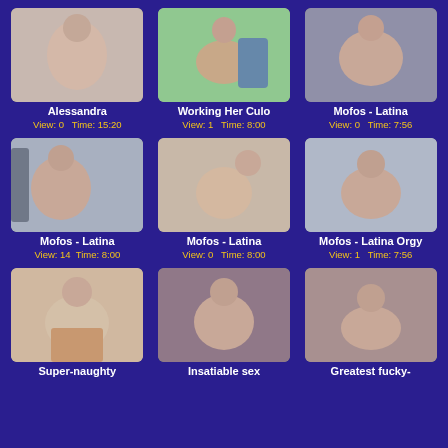[Figure (photo): Thumbnail 1 - Alessandra]
Alessandra
View: 0    Time: 15:20
[Figure (photo): Thumbnail 2 - Working Her Culo]
Working Her Culo
View: 1    Time: 8:00
[Figure (photo): Thumbnail 3 - Mofos - Latina]
Mofos - Latina
View: 0    Time: 7:56
[Figure (photo): Thumbnail 4 - Mofos - Latina]
Mofos - Latina
View: 14    Time: 8:00
[Figure (photo): Thumbnail 5 - Mofos - Latina]
Mofos - Latina
View: 0    Time: 8:00
[Figure (photo): Thumbnail 6 - Mofos - Latina Orgy]
Mofos - Latina Orgy
View: 1    Time: 7:56
[Figure (photo): Thumbnail 7 - Super-naughty]
Super-naughty
[Figure (photo): Thumbnail 8 - Insatiable sex]
Insatiable sex
[Figure (photo): Thumbnail 9 - Greatest fucky-]
Greatest fucky-